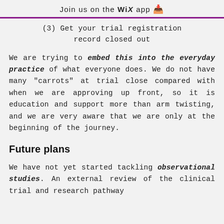Join us on the WiX app ⬇
(3) Get your trial registration record closed out
We are trying to embed this into the everyday practice of what everyone does. We do not have many "carrots" at trial close compared with when we are approving up front, so it is education and support more than arm twisting, and we are very aware that we are only at the beginning of the journey.
Future plans
We have not yet started tackling observational studies. An external review of the clinical trial and research pathway